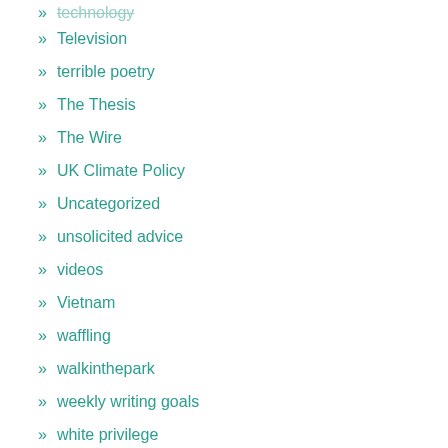» technology
» Television
» terrible poetry
» The Thesis
» The Wire
» UK Climate Policy
» Uncategorized
» unsolicited advice
» videos
» Vietnam
» waffling
» walkinthepark
» weekly writing goals
» white privilege
» words